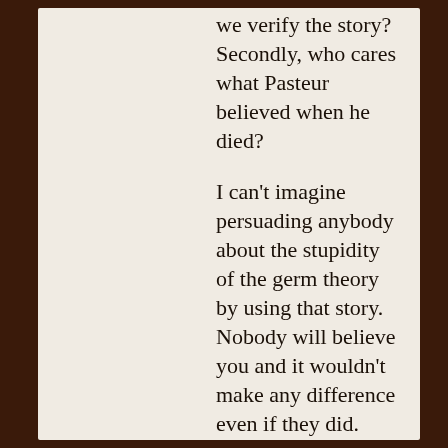we verify the story? Secondly, who cares what Pasteur believed when he died?
I can't imagine persuading anybody about the stupidity of the germ theory by using that story. Nobody will believe you and it wouldn't make any difference even if they did.
If you want an effective argument against germ theory just ask people why they are able to walk into doctor offices (along with the sick, the elderly, infants and the immunecompromised) without immediately dying (from the massive simultaneous exposure to